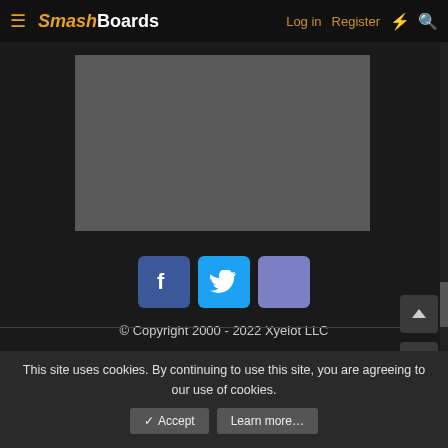SmashBoards — Log in  Register
[Figure (screenshot): Gray rectangular content area placeholder]
[Figure (infographic): Social media share buttons: Facebook (blue), Twitter (light blue), and a purple/blue button]
© Copyright 2000 - 2022 Xyelot LLC
This site uses cookies. By continuing to use this site, you are agreeing to our use of cookies.